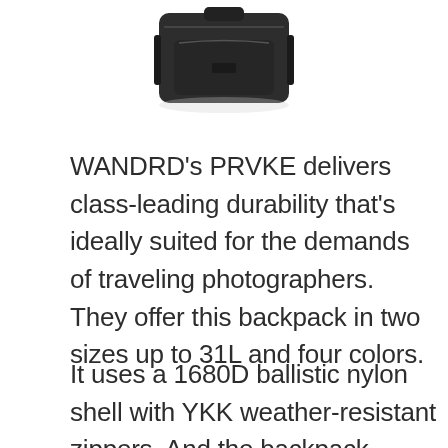[Figure (photo): A black backpack (WANDRD PRVKE) photographed from the front/top, showing the top portion of the bag with dark material and zipper details, on a white background.]
WANDRD's PRVKE delivers class-leading durability that's ideally suited for the demands of traveling photographers. They offer this backpack in two sizes up to 31L and four colors.
It uses a 1680D ballistic nylon shell with YKK weather-resistant zippers. And the backpack features quick-draw side